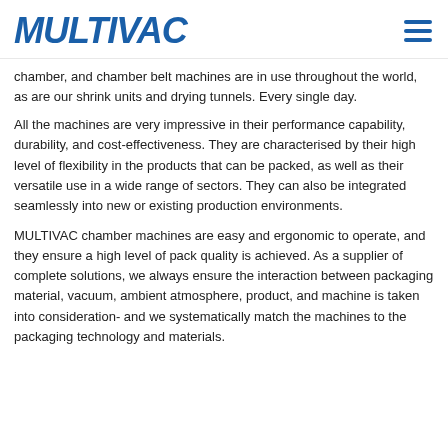MULTIVAC
chamber, and chamber belt machines are in use throughout the world, as are our shrink units and drying tunnels. Every single day.
All the machines are very impressive in their performance capability, durability, and cost-effectiveness. They are characterised by their high level of flexibility in the products that can be packed, as well as their versatile use in a wide range of sectors. They can also be integrated seamlessly into new or existing production environments.
MULTIVAC chamber machines are easy and ergonomic to operate, and they ensure a high level of pack quality is achieved. As a supplier of complete solutions, we always ensure the interaction between packaging material, vacuum, ambient atmosphere, product, and machine is taken into consideration- and we systematically match the machines to the packaging technology and materials.